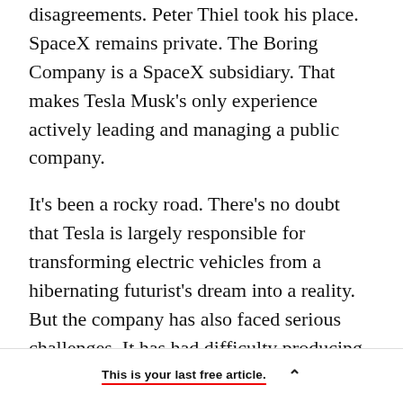disagreements. Peter Thiel took his place. SpaceX remains private. The Boring Company is a SpaceX subsidiary. That makes Tesla Musk's only experience actively leading and managing a public company.
It's been a rocky road. There's no doubt that Tesla is largely responsible for transforming electric vehicles from a hibernating futurist's dream into a reality. But the company has also faced serious challenges. It has had difficulty producing automobiles in the quantities common to legacy manufacturers, despite having exceeded the market capitalization of companies like GM and Ford.
This is your last free article.